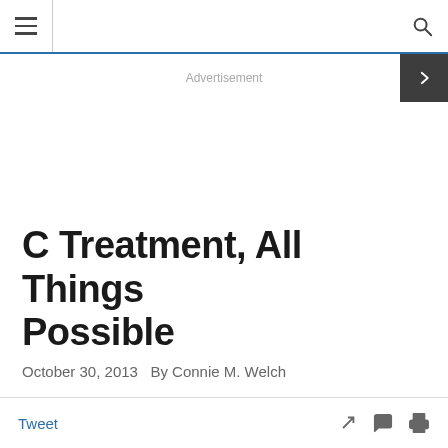Navigation header with menu and search icons
Advertisement
C Treatment, All Things Possible
October 30, 2013  By Connie M. Welch
Tweet